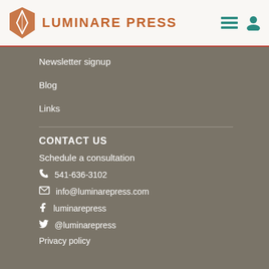LUMINARE PRESS
Newsletter signup
Blog
Links
CONTACT US
Schedule a consultation
541-636-3102
info@luminarepress.com
luminarepress
@luminarepress
Privacy policy